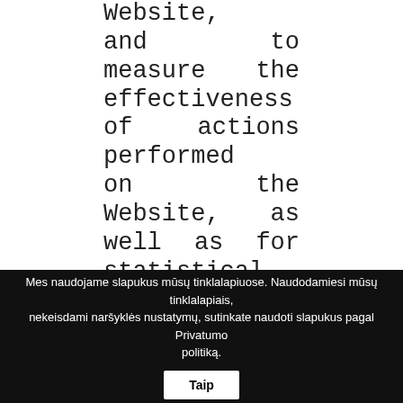Website, and to measure the effectiveness of actions performed on the Website, as well as for statistical purposes. All of the above is aimed at improving the quality of the Website and
Mes naudojame slapukus mūsų tinklalapiuose. Naudodamiesi mūsų tinklalapiais, nekeisdami naršyklės nustatymų, sutinkate naudoti slapukus pagal Privatumo politiką. Taip